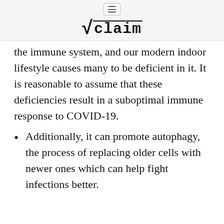√claim
the immune system, and our modern indoor lifestyle causes many to be deficient in it. It is reasonable to assume that these deficiencies result in a suboptimal immune response to COVID-19.
Additionally, it can promote autophagy, the process of replacing older cells with newer ones which can help fight infections better.